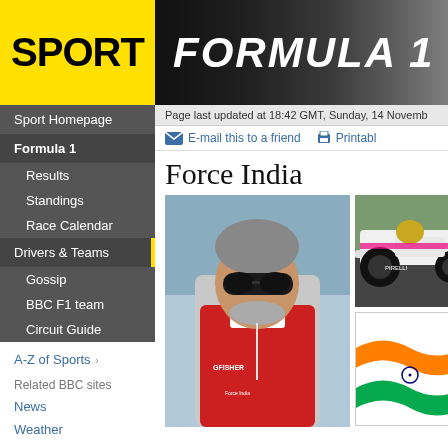SPORT | FORMULA 1
Sport Homepage
Formula 1
Results
Standings
Race Calendar
Drivers & Teams
Gossip
BBC F1 team
Circuit Guide
A-Z of Sports
Related BBC sites
News
Weather
Sport Relief
Page last updated at 18:42 GMT, Sunday, 14 Novemb
E-mail this to a friend
Printabl
Force India
[Figure (photo): Man wearing sunglasses and red jacket with KINGFISHER branding, Force India F1 team principal Vijay Mallya at a race circuit]
[Figure (photo): Force India F1 car close-up showing front wheel and bodywork]
[Figure (photo): Force India logo with Indian flag colors on white background]